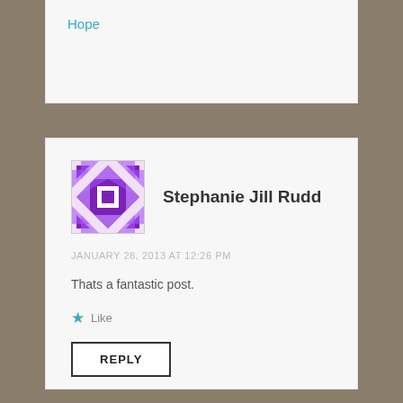Hope
Stephanie Jill Rudd
JANUARY 28, 2013 AT 12:26 PM
Thats a fantastic post.
Like
REPLY